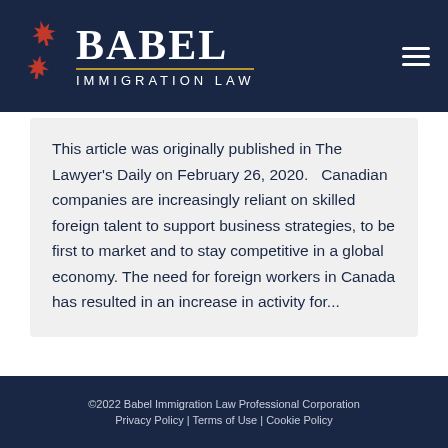[Figure (logo): Babel Immigration Law logo with maple leaves and text on dark navy header background]
This article was originally published in The Lawyer's Daily on February 26, 2020.   Canadian companies are increasingly reliant on skilled foreign talent to support business strategies, to be first to market and to stay competitive in a global economy. The need for foreign workers in Canada has resulted in an increase in activity for...
©2022 Babel Immigration Law Professional Corporation
Privacy Policy | Terms of Use | Cookie Policy